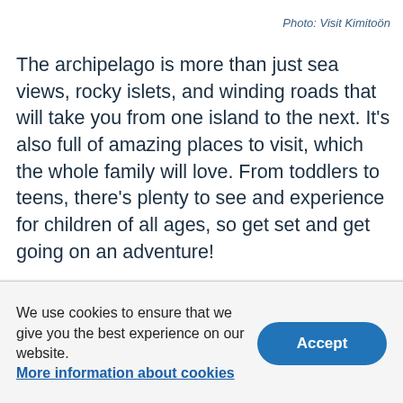Photo: Visit Kimitoön
The archipelago is more than just sea views, rocky islets, and winding roads that will take you from one island to the next. It's also full of amazing places to visit, which the whole family will love. From toddlers to teens, there's plenty to see and experience for children of all ages, so get set and get going on an adventure!
We use cookies to ensure that we give you the best experience on our website. More information about cookies